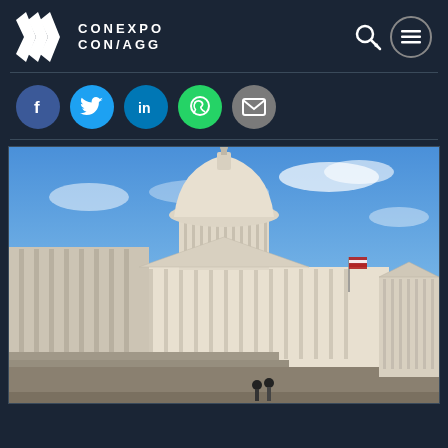CONEXPO CON/AGG
[Figure (photo): Photograph of the United States Capitol building taken from a low angle, showing the grand dome, white marble columns, wide stone steps in the foreground, and two people walking near the base. American flag visible in the background. Blue sky with light clouds.]